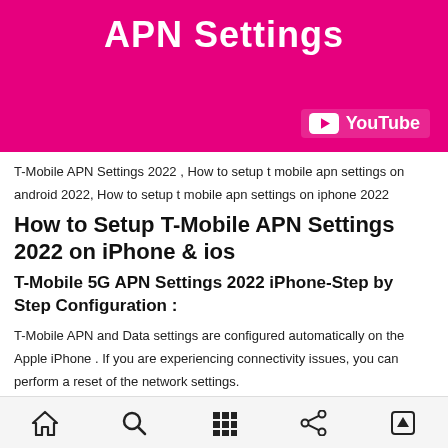[Figure (screenshot): T-Mobile APN Settings YouTube thumbnail with hot pink background and white bold title text 'APN Settings', YouTube logo badge at bottom right]
T-Mobile APN Settings 2022 , How to setup t mobile apn settings on android 2022, How to setup t mobile apn settings on iphone 2022
How to Setup T-Mobile APN Settings 2022 on iPhone & ios
T-Mobile 5G APN Settings 2022 iPhone-Step by Step Configuration :
T-Mobile APN and Data settings are configured automatically on the Apple iPhone . If you are experiencing connectivity issues, you can perform a reset of the network settings.
Navigation bar with home, search, grid, share, and scroll-to-top icons